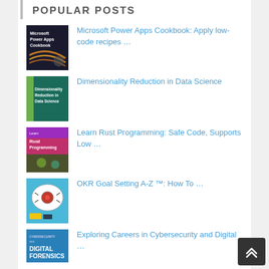POPULAR POSTS
Microsoft Power Apps Cookbook: Apply low-code recipes …
Dimensionality Reduction in Data Science
Learn Rust Programming: Safe Code, Supports Low …
OKR Goal Setting A-Z ™: How To …
Exploring Careers in Cybersecurity and Digital …